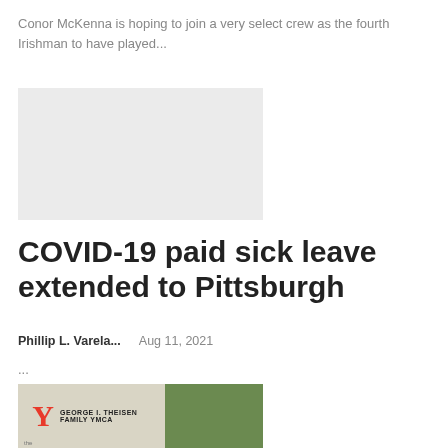Conor McKenna is hoping to join a very select crew as the fourth Irishman to have played...
[Figure (other): Gray placeholder image block (advertisement or image placeholder)]
COVID-19 paid sick leave extended to Pittsburgh
Phillip L. Varela...  Aug 11, 2021
...
[Figure (photo): Photo of YMCA sign reading 'GEORGE I. THEISEN FAMILY YMCA' with Y logo in red and green trees in background]